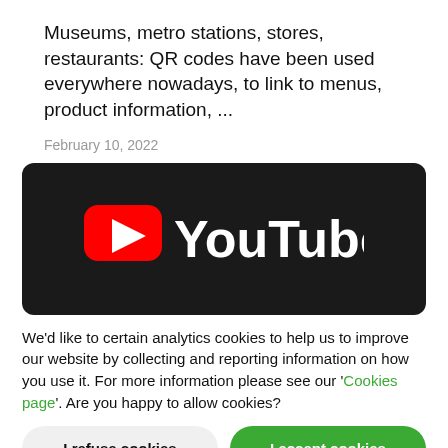Museums, metro stations, stores, restaurants: QR codes have been used everywhere nowadays, to link to menus, product information, ...
February 10, 2022
[Figure (screenshot): YouTube logo on a dark background]
We'd like to certain analytics cookies to help us to improve our website by collecting and reporting information on how you use it. For more information please see our 'Cookies page'. Are you happy to allow cookies?
I refuse cookies | I accept cookies